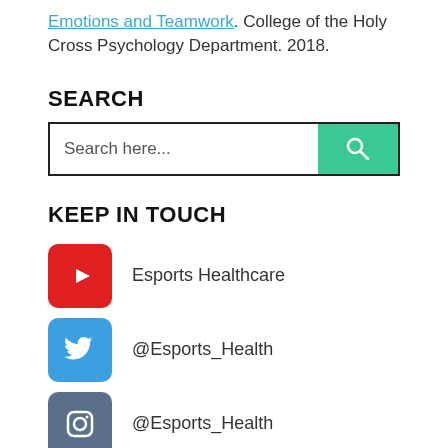Emotions and Teamwork. College of the Holy Cross Psychology Department. 2018.
SEARCH
[Figure (other): Search bar with text input and green search button with magnifying glass icon]
KEEP IN TOUCH
Esports Healthcare
@Esports_Health
@Esports_Health
Join our Discord!